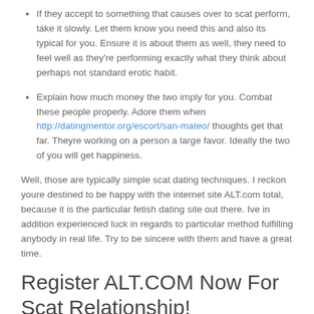If they accept to something that causes over to scat perform, take it slowly. Let them know you need this and also its typical for you. Ensure it is about them as well, they need to feel well as they're performing exactly what they think about perhaps not standard erotic habit.
Explain how much money the two imply for you. Combat these people properly. Adore them when http://datingmentor.org/escort/san-mateo/ thoughts get that far. Theyre working on a person a large favor. Ideally the two of you will get happiness.
Well, those are typically simple scat dating techniques. I reckon youre destined to be happy with the internet site ALT.com total, because it is the particular fetish dating site out there. Ive in addition experienced luck in regards to particular method fulfilling anybody in real life. Try to be sincere with them and have a great time.
Register ALT.COM Now For Scat Relationship!